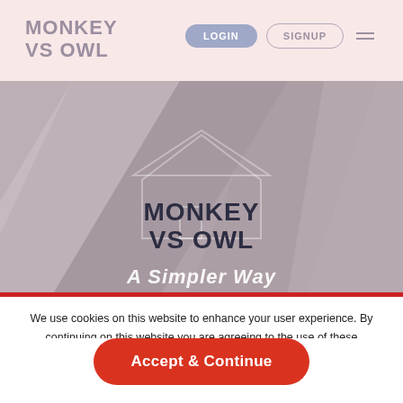MONKEY VS OWL
[Figure (screenshot): Website header with LOGIN and SIGNUP buttons and hamburger menu icon on pink background]
[Figure (photo): Hero banner with abstract geometric shapes and house outline overlay. Text overlay reads MONKEY VS OWL and A Simpler Way]
We use cookies on this website to enhance your user experience. By continuing on this website you are agreeing to the use of these cookies. For further information please read our Cookie policy.
Accept & Continue